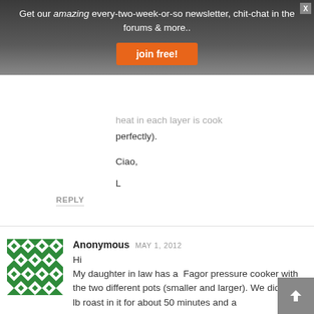[Figure (screenshot): Newsletter signup banner with gradient dark background. Text: 'Get our amazing every-two-week-or-so newsletter, chit-chat in the forums & more..' with an orange 'join free!' button and an X close button.]
heat in each layer is cook perfectly).
Ciao,
L
REPLY
[Figure (illustration): Green and white geometric pattern avatar icon for Anonymous commenter]
Anonymous  MAY 1, 2012
Hi
My daughter in law has a  Fagor pressure cooker with the two different pots (smaller and larger). We did a 2.3 lb roast in it for about 50 minutes and a